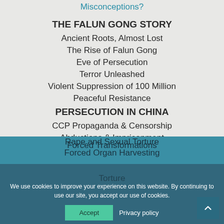Misconceptions?
THE FALUN GONG STORY
Ancient Roots, Almost Lost
The Rise of Falun Gong
Eve of Persecution
Terror Unleashed
Violent Suppression of 100 Million
Peaceful Resistance
PERSECUTION IN CHINA
CCP Propaganda & Censorship
Abductions & Imprisonment
Forced Transformations
Torture
Rape and Sexual Torture
Forced Organ Harvesting
We use cookies to improve your experience on this website. By continuing to use our site, you accept our use of cookies.